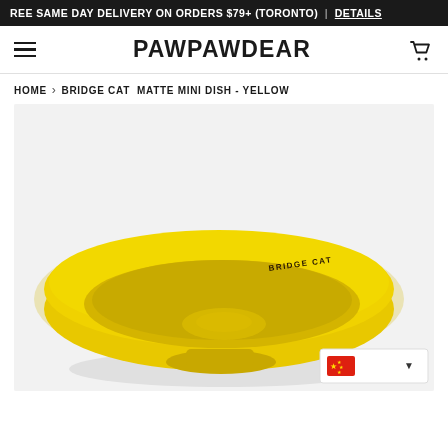FREE SAME DAY DELIVERY ON ORDERS $79+ (TORONTO) | DETAILS
PAWPAWDEAR
HOME › BRIDGE CAT MATTE MINI DISH - YELLOW
[Figure (photo): Yellow ceramic matte mini dish by Bridge Cat brand, shown from above at a slight angle. The bowl is shallow and wide with a flat rim. 'BRIDGE CAT' is printed in small dark text near the rim of the bowl. A Chinese flag currency widget is overlaid in the bottom-right corner of the image.]